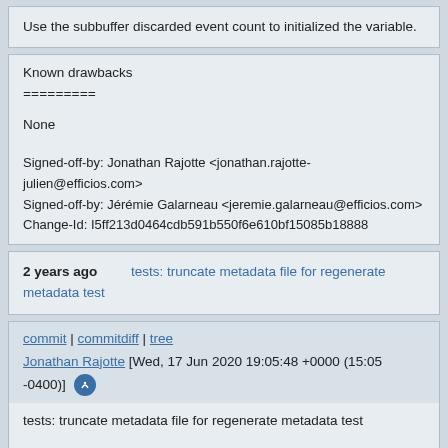Use the subbuffer discarded event count to initialized the variable.
Known drawbacks
=========
None
Signed-off-by: Jonathan Rajotte <jonathan.rajotte-julien@efficios.com>
Signed-off-by: Jérémie Galarneau <jeremie.galarneau@efficios.com>
Change-Id: I5ff213d0464cdb591b550f6e610bf15085b18888
2 years ago    tests: truncate metadata file for regenerate metadata test
commit | commitdiff | tree
Jonathan Rajotte [Wed, 17 Jun 2020 19:05:48 +0000 (15:05 -0400)]
tests: truncate metadata file for regenerate metadata test
Truncating the metadata file ensure that we test the effect of the regenerate metadata command. Otherwise we simply test the command return.